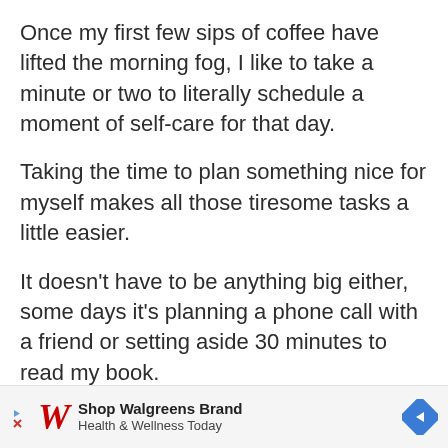Once my first few sips of coffee have lifted the morning fog, I like to take a minute or two to literally schedule a moment of self-care for that day.
Taking the time to plan something nice for myself makes all those tiresome tasks a little easier.
It doesn't have to be anything big either, some days it's planning a phone call with a friend or setting aside 30 minutes to read my book.
Whatever it is, write it down in your planner or add it to your calendar before you leave the house.
[Figure (infographic): Walgreens advertisement banner: Shop Walgreens Brand Health & Wellness Today, with Walgreens W logo in red cursive, a blue diamond navigation arrow icon, and a play/cancel icon on the left.]